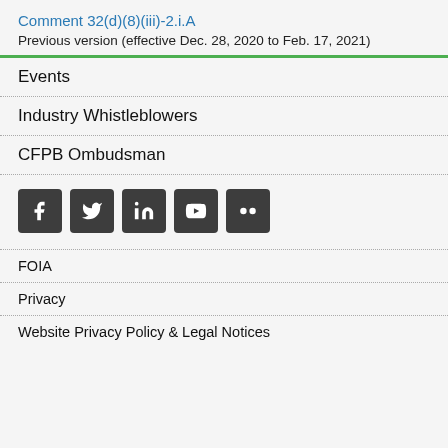Comment 32(d)(8)(iii)-2.i.A
Previous version (effective Dec. 28, 2020 to Feb. 17, 2021)
Events
Industry Whistleblowers
CFPB Ombudsman
[Figure (infographic): Row of 5 social media icons: Facebook, Twitter, LinkedIn, YouTube, Flickr]
FOIA
Privacy
Website Privacy Policy & Legal Notices